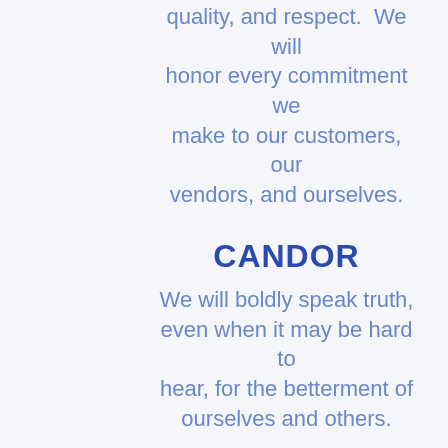quality, and respect.  We will honor every commitment we make to our customers, our vendors, and ourselves.
CANDOR
We will boldly speak truth, even when it may be hard to hear, for the betterment of ourselves and others.
CAMARADERIE
We have a responsibility as leaders to treat others the